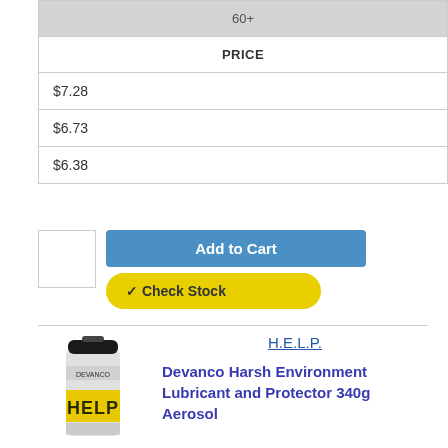| 60+ |
| --- |
| PRICE |
| $7.28 |
| $6.73 |
| $6.38 |
[Figure (screenshot): Quantity input box and two buttons: blue 'Add to Cart' button and yellow 'Check Stock' button]
[Figure (photo): Devanco HELP aerosol spray can product photo]
H.E.L.P.
Devanco Harsh Environment Lubricant and Protector 340g Aerosol